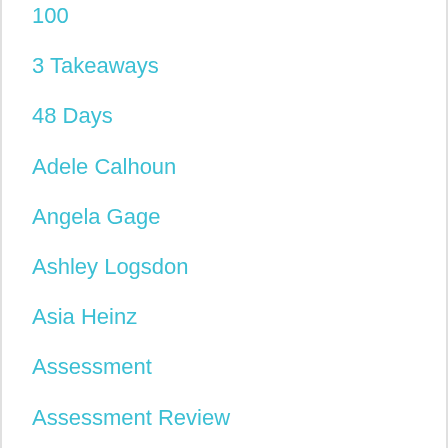100
3 Takeaways
48 Days
Adele Calhoun
Angela Gage
Ashley Logsdon
Asia Heinz
Assessment
Assessment Review